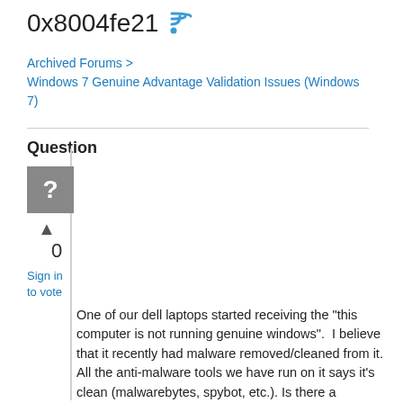0x8004fe21
Archived Forums > Windows 7 Genuine Advantage Validation Issues (Windows 7)
Question
[Figure (illustration): Grey square avatar with white question mark]
▲
0
Sign in to vote
One of our dell laptops started receiving the "this computer is not running genuine windows".  I believe that it recently had malware removed/cleaned from it. All the anti-malware tools we have run on it says it's clean (malwarebytes, spybot, etc.). Is there a somewhat easy fix or should we have our IT dept. wipe it and reload